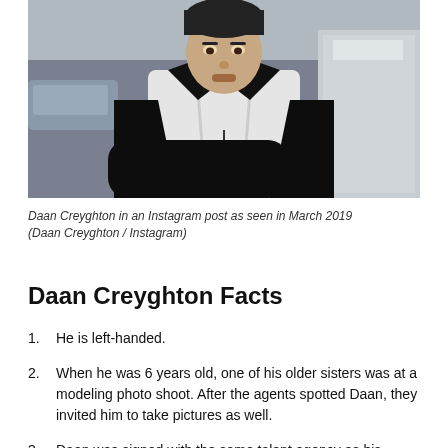[Figure (photo): Daan Creyghton wearing a white hoodie under a black jacket, photographed outdoors in an urban setting.]
Daan Creyghton in an Instagram post as seen in March 2019 (Daan Creyghton / Instagram)
Daan Creyghton Facts
He is left-handed.
When he was 6 years old, one of his older sisters was at a modeling photo shoot. After the agents spotted Daan, they invited him to take pictures as well.
Daan was signed with the same talent agency as his...